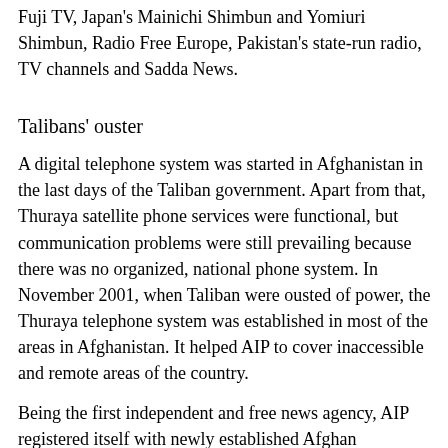Fuji TV, Japan's Mainichi Shimbun and Yomiuri Shimbun, Radio Free Europe, Pakistan's state-run radio, TV channels and Sadda News.
Talibans' ouster
A digital telephone system was started in Afghanistan in the last days of the Taliban government. Apart from that, Thuraya satellite phone services were functional, but communication problems were still prevailing because there was no organized, national phone system. In November 2001, when Taliban were ousted of power, the Thuraya telephone system was established in most of the areas in Afghanistan. It helped AIP to cover inaccessible and remote areas of the country.
Being the first independent and free news agency, AIP registered itself with newly established Afghan Information and Culture Ministry at Kabul. It has been working continuously since its establishment and never stopped its work even for a single day. The agency fulfilled its initial